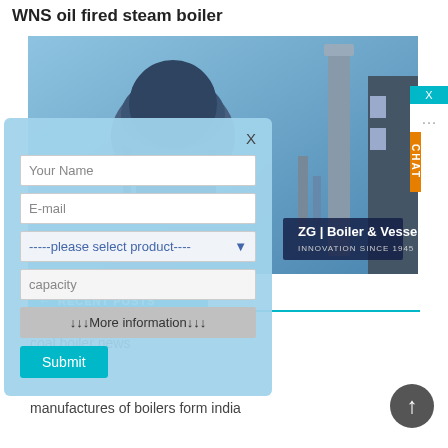WNS oil fired steam boiler
[Figure (photo): Industrial WNS oil fired steam boiler and chimney stack against a blue sky, with ZG Boiler & Vessel branding badge in the lower right corner.]
X (close button)
Your Name
E-mail
-----please select product---- ▾
capacity
↓↓↓More information↓↓↓
Submit
CHAT
RECENT POSTS
coal boiler news
manufactures of boilers form india